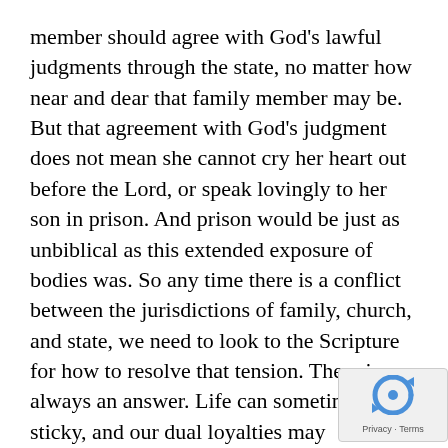member should agree with God's lawful judgments through the state, no matter how near and dear that family member may be. But that agreement with God's judgment does not mean she cannot cry her heart out before the Lord, or speak lovingly to her son in prison. And prison would be just as unbiblical as this extended exposure of bodies was. So any time there is a conflict between the jurisdictions of family, church, and state, we need to look to the Scripture for how to resolve that tension. There is always an answer. Life can sometimes be sticky, and our dual loyalties may sometimes be severely tested. And that's what Deuteronomy 13:6-11 is saying.

But back to our passage, it is clear that David